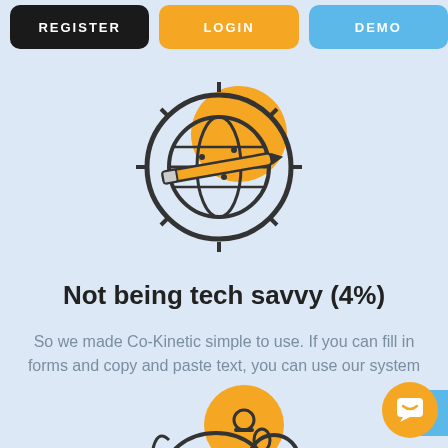REGISTER | LOGIN | DEMO
[Figure (illustration): Icon of a globe/brain with a pencil, orange circle accent, inside a circular gear border]
Not being tech savvy (4%)
So we made Co-Kinetic simple to use. If you can fill in forms and copy and paste text, you can use our system
[Figure (illustration): Piggy bank icon with orange circle accent, coin slot visible]